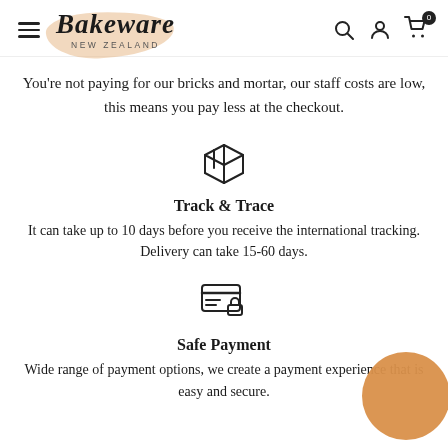Bakeware NEW ZEALAND
You’re not paying for our bricks and mortar, our staff costs are low, this means you pay less at the checkout.
[Figure (illustration): Box/package icon representing shipping]
Track & Trace
It can take up to 10 days before you receive the international tracking. Delivery can take 15-60 days.
[Figure (illustration): Secure payment / credit card with lock icon]
Safe Payment
Wide range of payment options, we create a payment experience that is easy and secure.